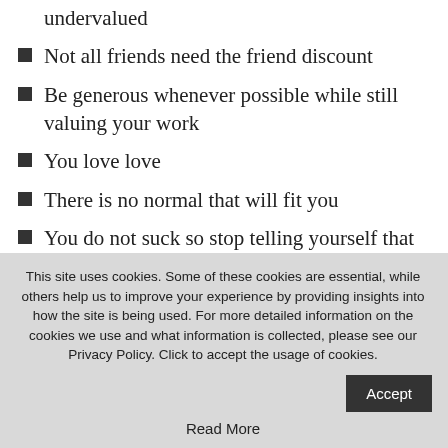undervalued
Not all friends need the friend discount
Be generous whenever possible while still valuing your work
You love love
There is no normal that will fit you
You do not suck so stop telling yourself that
Be transparent
This site uses cookies. Some of these cookies are essential, while others help us to improve your experience by providing insights into how the site is being used. For more detailed information on the cookies we use and what information is collected, please see our Privacy Policy. Click to accept the usage of cookies.
Read More